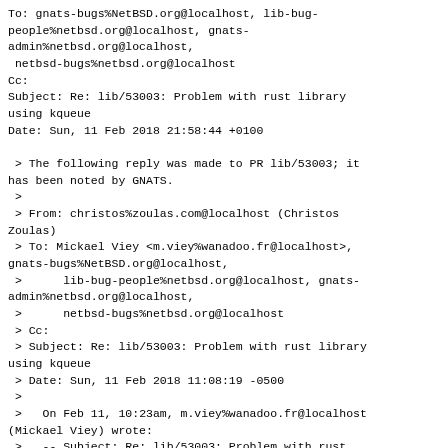To: gnats-bugs%NetBSD.org@localhost, lib-bug-people%netbsd.org@localhost, gnats-admin%netbsd.org@localhost,
 netbsd-bugs%netbsd.org@localhost
Cc:
Subject: Re: lib/53003: Problem with rust library using kqueue
Date: Sun, 11 Feb 2018 21:58:44 +0100

 > The following reply was made to PR lib/53003; it has been noted by GNATS.
 >
 > From: christos%zoulas.com@localhost (Christos Zoulas)
 > To: Mickael Viey <m.viey%wanadoo.fr@localhost>, gnats-bugs%NetBSD.org@localhost,
 >      lib-bug-people%netbsd.org@localhost, gnats-admin%netbsd.org@localhost,
 >      netbsd-bugs%netbsd.org@localhost
 > Cc:
 > Subject: Re: lib/53003: Problem with rust library using kqueue
 > Date: Sun, 11 Feb 2018 11:08:19 -0500
 >
 >   On Feb 11, 10:23am, m.viey%wanadoo.fr@localhost (Mickael Viey) wrote:
 >   -- Subject: Re: lib/53003: Problem with rust library using kqueue
 >
 >   | Ok, the NetBSD in that I tried this code is my